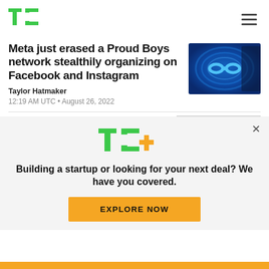TechCrunch
Meta just erased a Proud Boys network stealthily organizing on Facebook and Instagram
[Figure (photo): Meta logo on a blue swirling background]
Taylor Hatmaker
12:19 AM UTC • August 26, 2022
[Figure (logo): TC+ logo in green and yellow]
Building a startup or looking for your next deal? We have you covered.
EXPLORE NOW